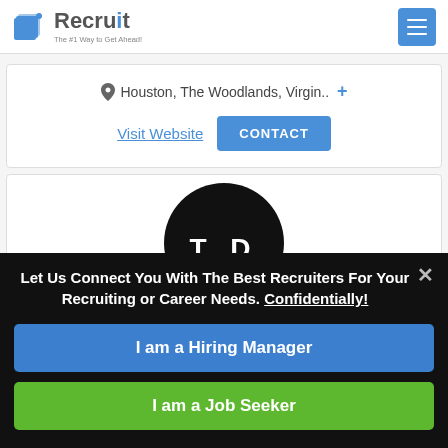Recruit — The #1 Way to Get Ahead!
Houston, The Woodlands, Virgin.. +
Visit Website  CONTACT
[Figure (illustration): Circular dark avatar with initials 'T D' in white text on black background]
Let Us Connect You With The Best Recruiters For Your Recruiting or Career Needs. Confidentially!
I am a Hiring Manager
I am a Job Seeker